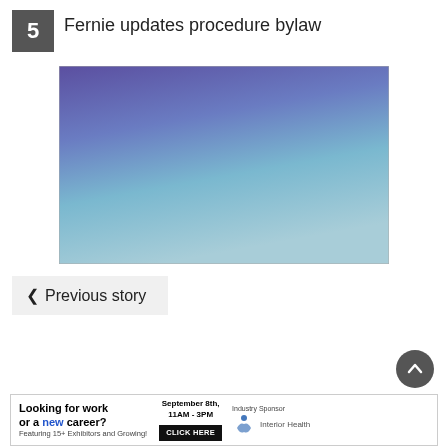5 Fernie updates procedure bylaw
[Figure (photo): Photograph with gradient blue and purple sky tones]
< Previous story
Looking for work or a new career? Featuring 15+ Exhibitors and Growing! September 8th, 11AM - 3PM CLICK HERE Industry Sponsor Interior Health